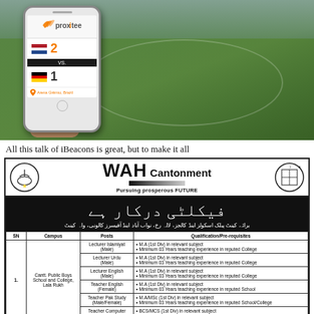[Figure (photo): A hand holding a smartphone displaying the Proxitee app showing a soccer match score (Netherlands 2 vs Germany 1) with a soccer stadium in the background.]
All this talk of iBeacons is great, but to make it all
[Figure (infographic): WAH Cantonment job advertisement with header showing WAH Cantonment logo and text 'Pursuing prosperous FUTURE', Urdu text banner, and a table listing faculty positions for Cantt. Public Boys School and College, Lala Rukh including Lecturer Islamiyat (Male), Lecturer Urdu (Male), Lecturer English (Male), Teacher English (Female), Teacher Pak Study (Male/Female), Teacher Computer (Female) with qualifications.]